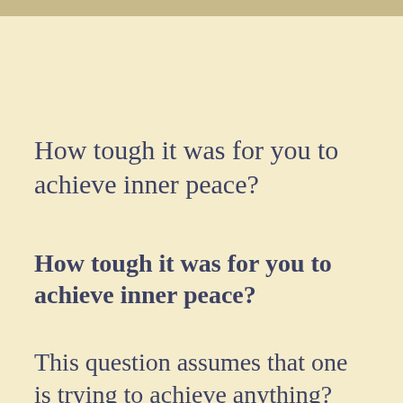How tough it was for you to achieve inner peace?
How tough it was for you to achieve inner peace?
This question assumes that one is trying to achieve anything? One is not trying to